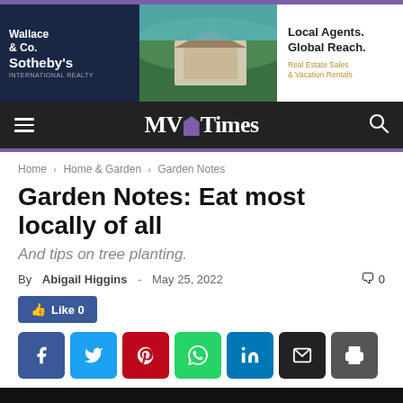[Figure (screenshot): Advertisement banner: Wallace & Co. Sotheby's International Realty with house aerial photo and 'Local Agents. Global Reach. Real Estate Sales & Vacation Rentals' text]
MV Times
Home › Home & Garden › Garden Notes
Garden Notes: Eat most locally of all
And tips on tree planting.
By Abigail Higgins - May 25, 2022 🗨 0
[Figure (screenshot): Like 0 button (Facebook like button in blue)]
[Figure (screenshot): Social share buttons: Facebook, Twitter, Pinterest, WhatsApp, LinkedIn, Email, Print]
[Figure (photo): Image carousel showing 1 of 3, with navigation arrows, dark background with garden image beginning to appear at bottom]